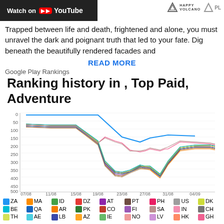[Figure (screenshot): YouTube watch button banner and Happy Volcano / Play logos in top bar]
Trapped between life and death, frightened and alone, you must unravel the dark and poignant truth that led to your fate. Dig beneath the beautifully rendered facades and
READ MORE
Google Play Rankings
Ranking history in , Top Paid, Adventure
[Figure (line-chart): Multi-line chart showing ranking history for many countries over time, with ranks starting around 50, dropping to ~350 around 19/08, then recovering to ~150-200 by 04/09. One blue line (ZA) stays near top (rank ~5) then drops.]
ZA MA ID DZ AT PT PH US DK BE QA AR PK CO FI SA IN CH TH AE LB AZ IE NO LV HK GH